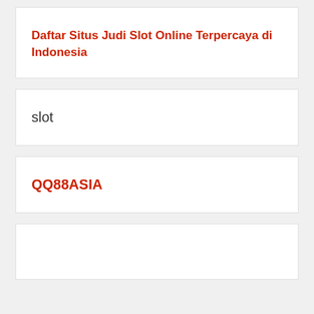Daftar Situs Judi Slot Online Terpercaya di Indonesia
slot
QQ88ASIA